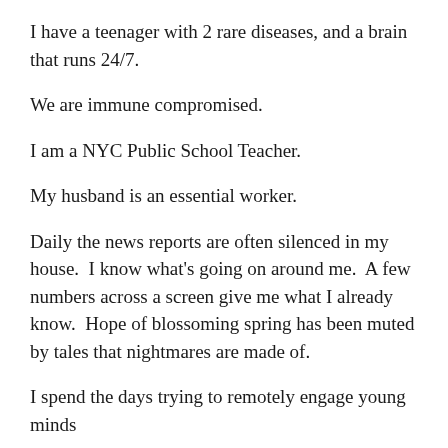I have a teenager with 2 rare diseases, and a brain that runs 24/7.
We are immune compromised.
I am a NYC Public School Teacher.
My husband is an essential worker.
Daily the news reports are often silenced in my house.  I know what's going on around me.  A few numbers across a screen give me what I already know.  Hope of blossoming spring has been muted by tales that nightmares are made of.
I spend the days trying to remotely engage young minds